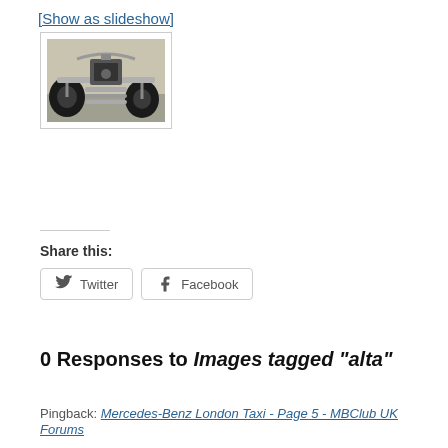[Show as slideshow]
[Figure (photo): A black and white or muted-color photograph showing the underside/chassis mechanical components of a vintage racing car, including wheels, suspension, and exhaust pipes.]
Share this:
Twitter   Facebook
0 Responses to Images tagged "alta"
Pingback: Mercedes-Benz London Taxi - Page 5 - MBClub UK Forums